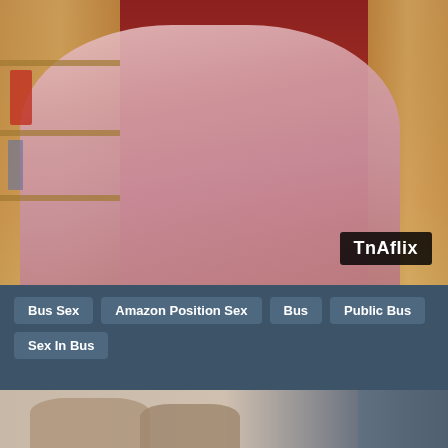[Figure (photo): Video thumbnail showing a woman in a pink top leaning forward with bookshelves and red wall in the background, with TnAflix watermark]
Bus Sex
Amazon Position Sex
Bus
Public Bus
Sex In Bus
[Figure (photo): Partial thumbnail showing feet/shoes on a surface]